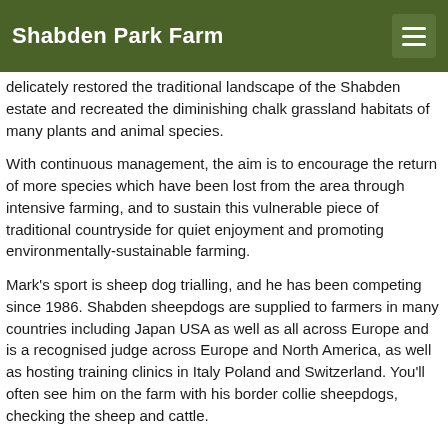Shabden Park Farm
delicately restored the traditional landscape of the Shabden estate and recreated the diminishing chalk grassland habitats of many plants and animal species.
With continuous management, the aim is to encourage the return of more species which have been lost from the area through intensive farming, and to sustain this vulnerable piece of traditional countryside for quiet enjoyment and promoting environmentally-sustainable farming.
Mark's sport is sheep dog trialling, and he has been competing since 1986. Shabden sheepdogs are supplied to farmers in many countries including Japan USA as well as all across Europe and is a recognised judge across Europe and North America, as well as hosting training clinics in Italy Poland and Switzerland. You'll often see him on the farm with his border collie sheepdogs, checking the sheep and cattle.